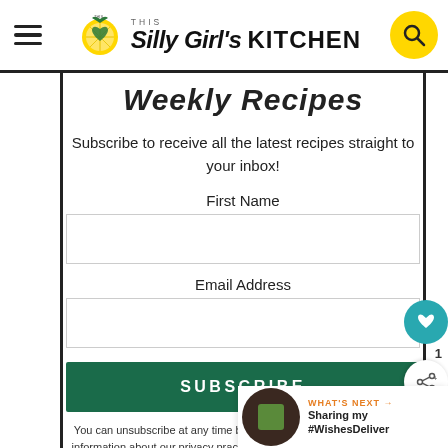This Silly Girl's KITCHEN
Weekly Recipes
Subscribe to receive all the latest recipes straight to your inbox!
First Name
Email Address
SUBSCRIBE
You can unsubscribe at any time by clicking the link in our emails. For information about our privacy practices, please view our privacy policy.